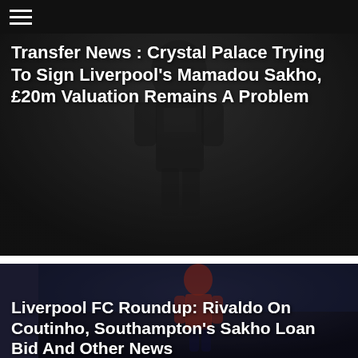Transfer News : Crystal Palace Trying To Sign Liverpool's Mamadou Sakho, £20m Valuation Remains A Problem
[Figure (photo): Dark photo of a football player (Mamadou Sakho) against a dark background, serving as image background for the article title]
Transfer News : Crystal Palace Trying To Sign Liverpool's Mamadou Sakho, £20m Valuation Remains A Problem
Crystal Palace are still trying to sign Liverpool defender Mamadou Sakho but have issues with the Reds' insistence on their £20m valuation.
[Figure (photo): Photo of a Liverpool FC player (Coutinho) in a red kit running on a football pitch with a stadium crowd in the background, serving as image background for a second article title]
Liverpool FC Roundup: Rivaldo On Coutinho, Southampton's Sakho Loan Bid And Other News